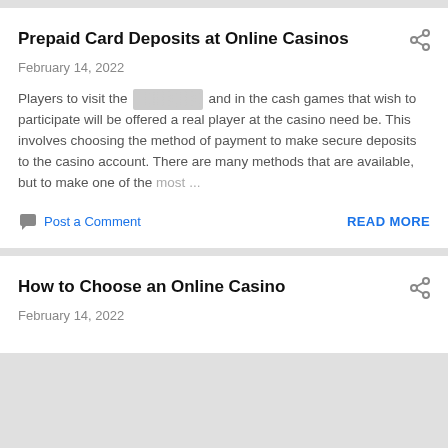Prepaid Card Deposits at Online Casinos
February 14, 2022
Players to visit the [redacted] and in the cash games that wish to participate will be offered a real player at the casino need be. This involves choosing the method of payment to make secure deposits to the casino account. There are many methods that are available, but to make one of the most...
Post a Comment
READ MORE
How to Choose an Online Casino
February 14, 2022